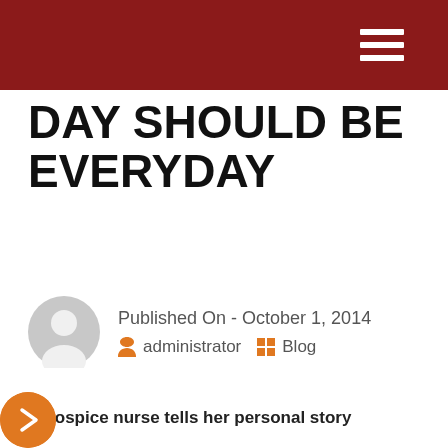DAY SHOULD BE EVERYDAY
Published On - October 1, 2014  administrator  Blog
A hospice nurse tells her personal story